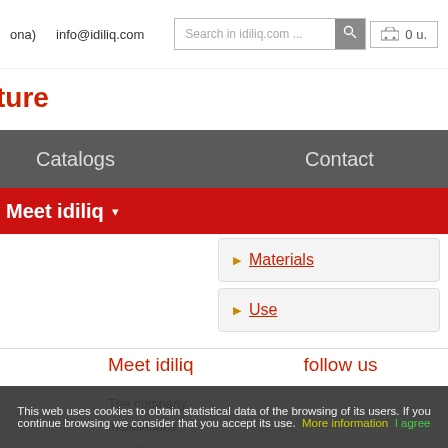ona)   info@idiliq.com   Search in idiliq.com ...   0 u.
ture
Catalogs   Contact
Meet idiliq ▾
Materials
Use
Meet idiliq
follow us
The company
Installations
Localization
This web uses cookies to obtain statistical data of the browsing of its users. If you continue browsing we consider that you accept its use.   More information   I agree